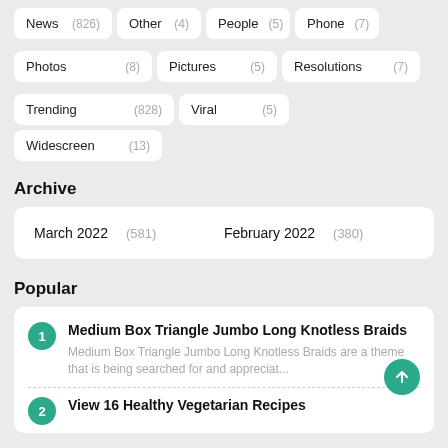News (826)
Other (4)
People (5)
Phone (7)
Photos (8)
Pictures (5)
Resolutions (7)
Trending (828)
Viral (5)
Widescreen (13)
Archive
| March 2022 | (581) | February 2022 | (380) |
Popular
1 Medium Box Triangle Jumbo Long Knotless Braids — Medium Box Triangle Jumbo Long Knotless Braids are a theme that is being searched for and appreciat...
2 View 16 Healthy Vegetarian Recipes